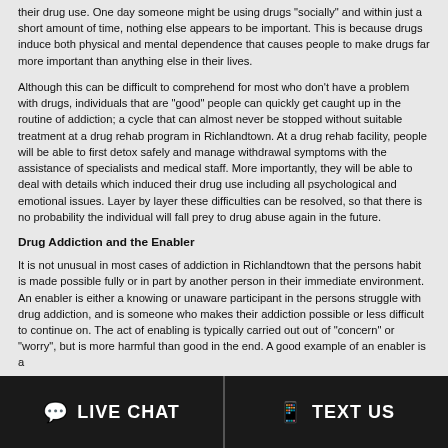their drug use. One day someone might be using drugs "socially" and within just a short amount of time, nothing else appears to be important. This is because drugs induce both physical and mental dependence that causes people to make drugs far more important than anything else in their lives.
Although this can be difficult to comprehend for most who don't have a problem with drugs, individuals that are "good" people can quickly get caught up in the routine of addiction; a cycle that can almost never be stopped without suitable treatment at a drug rehab program in Richlandtown. At a drug rehab facility, people will be able to first detox safely and manage withdrawal symptoms with the assistance of specialists and medical staff. More importantly, they will be able to deal with details which induced their drug use including all psychological and emotional issues. Layer by layer these difficulties can be resolved, so that there is no probability the individual will fall prey to drug abuse again in the future.
Drug Addiction and the Enabler
It is not unusual in most cases of addiction in Richlandtown that the persons habit is made possible fully or in part by another person in their immediate environment. An enabler is either a knowing or unaware participant in the persons struggle with drug addiction, and is someone who makes their addiction possible or less difficult to continue on. The act of enabling is typically carried out out of "concern" or "worry", but is more harmful than good in the end. A good example of an enabler is a
LIVE CHAT   TEXT US